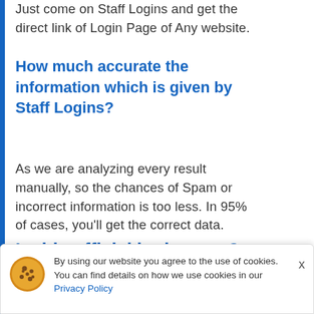Just come on Staff Logins and get the direct link of Login Page of Any website.
How much accurate the information which is given by Staff Logins?
As we are analyzing every result manually, so the chances of Spam or incorrect information is too less. In 95% of cases, you'll get the correct data.
Is this official login page?
Yes, this all is the official login page of the
By using our website you agree to the use of cookies. You can find details on how we use cookies in our Privacy Policy
select and put the right one here!